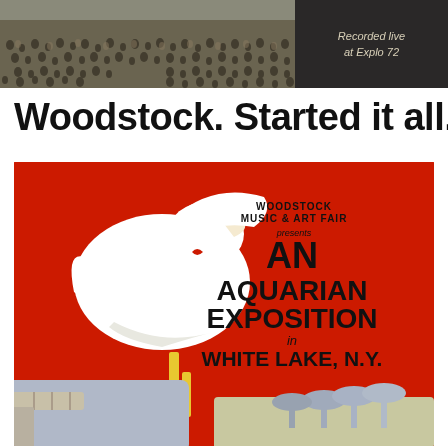[Figure (photo): Top portion shows a black and white crowd photo with text 'Recorded live at Explo 72' on the right side against dark background]
Woodstock. Started it all.
[Figure (illustration): Woodstock Music & Art Fair iconic poster featuring white dove on red background with text: WOODSTOCK MUSIC & ART FAIR presents AN AQUARIAN EXPOSITION in WHITE LAKE, N.Y.]